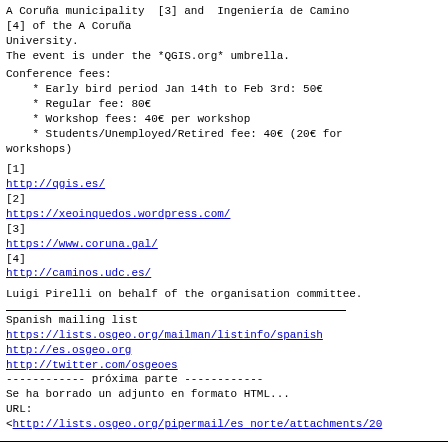A Coruña municipality [3] and  Ingeniería de Camino
[4] of the A Coruña
University.
The event is under the *QGIS.org* umbrella.
Conference fees:
* Early bird period Jan 14th to Feb 3rd: 50€
* Regular fee: 80€
* Workshop fees: 40€ per workshop
* Students/Unemployed/Retired fee: 40€ (20€ for
workshops)
[1]  http://qgis.es/
[2]  https://xeoinquedos.wordpress.com/
[3]  https://www.coruna.gal/
[4]  http://caminos.udc.es/
Luigi Pirelli on behalf of the organisation committee.
Spanish mailing list
https://lists.osgeo.org/mailman/listinfo/spanish
http://es.osgeo.org
http://twitter.com/osgeoes
------------ próxima parte ------------
Se ha borrado un adjunto en formato HTML...
URL:
<http://lists.osgeo.org/pipermail/es_norte/attachments/20